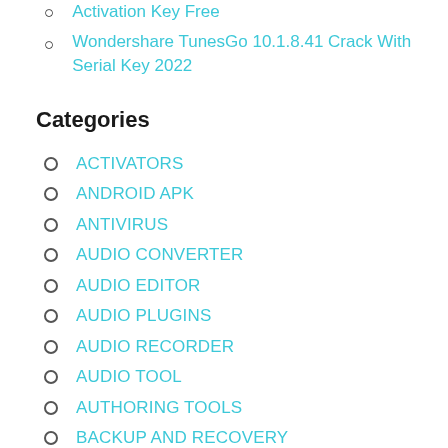Activation Key Free
Wondershare TunesGo 10.1.8.41 Crack With Serial Key 2022
Categories
ACTIVATORS
ANDROID APK
ANTIVIRUS
AUDIO CONVERTER
AUDIO EDITOR
AUDIO PLUGINS
AUDIO RECORDER
AUDIO TOOL
AUTHORING TOOLS
BACKUP AND RECOVERY